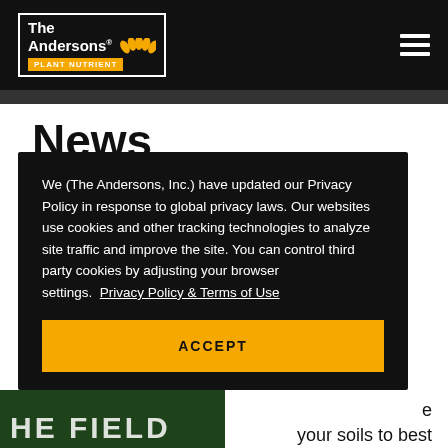The Andersons PLANT NUTRIENT
News
October 2019
We (The Andersons, Inc.) have updated our Privacy Policy in response to global privacy laws. Our websites use cookies and other tracking technologies to analyze site traffic and improve the site. You can control third party cookies by adjusting your browser settings.  Privacy Policy & Terms of Use
ACCEPT
e
your soils to best